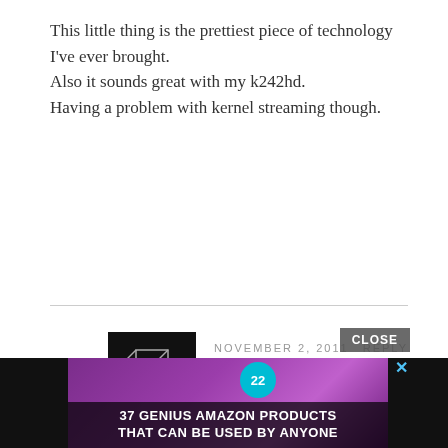This little thing is the prettiest piece of technology I've ever brought.
Also it sounds great with my k242hd.
Having a problem with kernel streaming though.
[Figure (illustration): Abstract 3D wireframe cube logo avatar for anonymous commenter, dark background]
NOVEMBER 2, 2011
REPLY
ANONYMOUS
I've never found KS really reliable with any soundcards, under Win 7 WASAPI is fantastic.
[Figure (photo): Advertisement showing purple headphones on a wooden surface with text '37 GENIUS AMAZON PRODUCTS THAT CAN BE USED BY ANYONE' and a circular '22' badge, with a CLOSE button overlay]